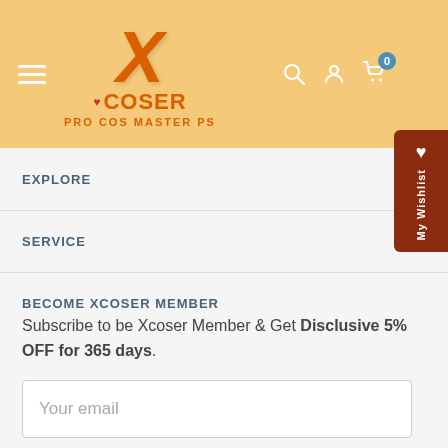[Figure (logo): Xcoser logo with orange X, .COSER text, PRO COS MASTER PS tagline on peach/orange header background with hamburger menu, search, user, and cart icons]
EXPLORE
SERVICE
BECOME XCOSER MEMBER
Subscribe to be Xcoser Member & Get Disclusive 5% OFF for 365 days.
Your email